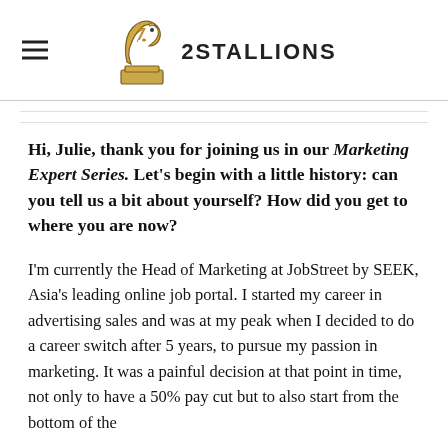[Figure (logo): 2Stallions logo with a golden horse chess knight icon and the text '2Stallions' in bold uppercase letters]
Hi, Julie, thank you for joining us in our Marketing Expert Series. Let's begin with a little history: can you tell us a bit about yourself? How did you get to where you are now?
I'm currently the Head of Marketing at JobStreet by SEEK, Asia's leading online job portal. I started my career in advertising sales and was at my peak when I decided to do a career switch after 5 years, to pursue my passion in marketing. It was a painful decision at that point in time, not only to have a 50% pay cut but to also start from the bottom of the